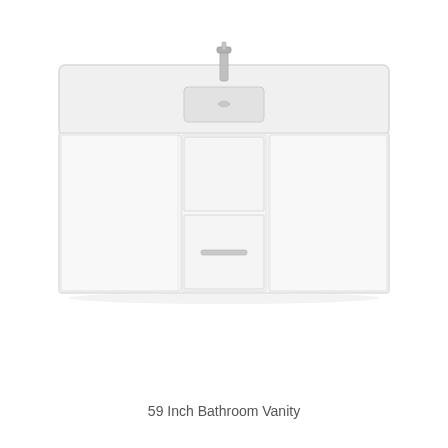[Figure (photo): A white wall-mounted 59-inch bathroom vanity with a wide rectangular white sink basin on top, a single faucet in the center, two side cabinet doors, and two central drawers with a horizontal bar handle.]
59 Inch Bathroom Vanity